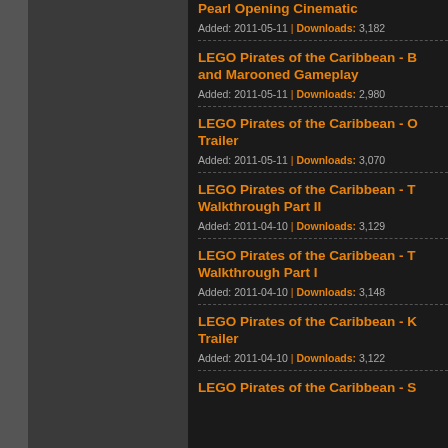Pearl Opening Cinematic | Added: 2011-05-11 | Downloads: 3,182
LEGO Pirates of the Caribbean - [truncated] and Marooned Gameplay | Added: 2011-05-11 | Downloads: 2,980
LEGO Pirates of the Caribbean - [truncated] Trailer | Added: 2011-05-11 | Downloads: 3,070
LEGO Pirates of the Caribbean - [truncated] Walkthrough Part II | Added: 2011-04-10 | Downloads: 3,129
LEGO Pirates of the Caribbean - [truncated] Walkthrough Part I | Added: 2011-04-10 | Downloads: 3,148
LEGO Pirates of the Caribbean - [truncated] Trailer | Added: 2011-04-10 | Downloads: 3,122
LEGO Pirates of the Caribbean - [truncated]